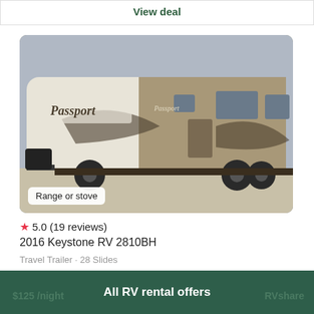View deal
[Figure (photo): Photo of a Passport by Keystone travel trailer RV parked outdoors, beige and brown in color, with swoosh graphics. Text overlay at bottom left reads 'Range or stove'.]
★ 5.0 (19 reviews)
2016 Keystone RV 2810BH
Travel Trailer · 28 Slides
$125 /night
All RV rental offers
RVshare